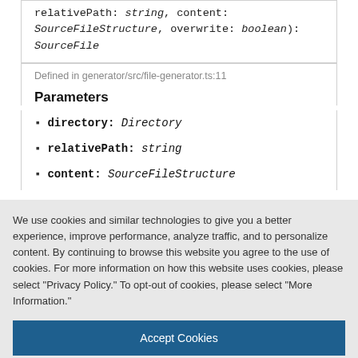relativePath: string, content: SourceFileStructure, overwrite: boolean): SourceFile
Defined in generator/src/file-generator.ts:11
Parameters
directory: Directory
relativePath: string
content: SourceFileStructure
We use cookies and similar technologies to give you a better experience, improve performance, analyze traffic, and to personalize content. By continuing to browse this website you agree to the use of cookies. For more information on how this website uses cookies, please select “Privacy Policy.” To opt-out of cookies, please select “More Information.”
Accept Cookies
More Information
Privacy Policy | Powered by: TrustArc